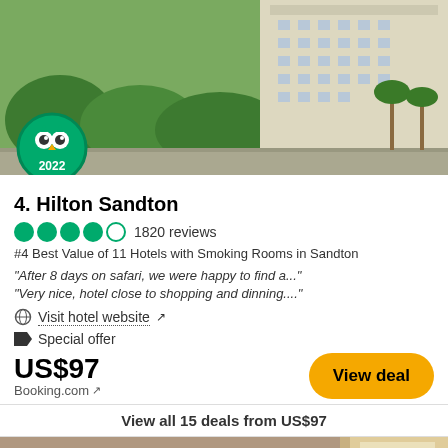[Figure (photo): Exterior photo of Hilton Sandton hotel building with TripAdvisor 2022 Travellers' Choice badge in bottom left corner. Tall beige hotel building surrounded by trees and palm trees, urban street visible.]
4. Hilton Sandton
1820 reviews
#4 Best Value of 11 Hotels with Smoking Rooms in Sandton
"After 8 days on safari, we were happy to find a..."
"Very nice, hotel close to shopping and dinning...."
Visit hotel website ↗
Special offer
US$97
Booking.com ↗
View deal
View all 15 deals from US$97
[Figure (photo): Partial interior photo of a hotel room showing ceiling, curtains, and wall. Bottom of the page with heart/save button in top right corner.]